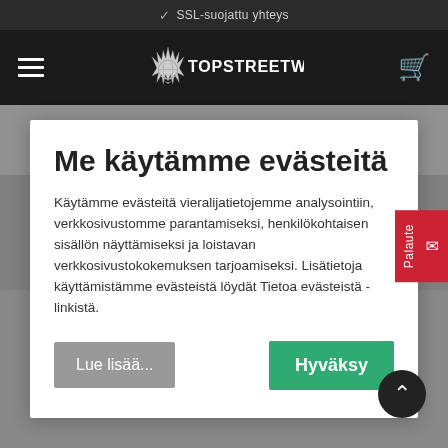✓ SSL-suojattu yhteys
[Figure (logo): TopStreetWear logo with star/crown graphic and white text on dark navbar]
Me käytämme evästeitä
Käytämme evästeitä vieralijatietojemme analysointiin, verkkosivustomme parantamiseksi, henkilökohtaisen sisällön näyttämiseksi ja loistavan verkkosivustokokemuksen tarjoamiseksi. Lisätietoja käyttämistämme evästeistä löydät Tietoa evästeistä - linkistä.
Lue lisää...
Hyväksy